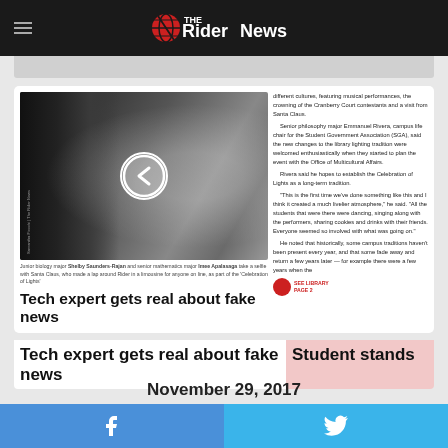The Rider News
[Figure (photo): Photo of students with Santa Claus with a video play button overlay. Junior biology major Shelby Saunders-Rajan and senior mathematics major Imee Apalasaga take a selfie with Santa Claus, who made a lap around Rider in a limousine for anyone on line, as part of the 'Celebration of Lights'.]
Junior biology major Shelby Saunders-Rajan and senior mathematics major Imee Apalasaga take a selfie with Santa Claus, who made a lap around Rider in a limousine for anyone on line, as part of the 'Celebration of Lights'.
different cultures, featuring musical performances, the crowning of the Cranberry Court contestants and a visit from Santa Claus. Senior philosophy major Emmanuel Rivera, campus life chair for the Student Government Association (SGA), said the new changes to the library lighting tradition were welcomed enthusiastically when they started to plan the event with the Office of Multicultural Affairs. Rivera said he hopes to establish the Celebration of Lights as a long-term tradition. "This is the first time we've done something like this and I think it created a much livelier atmosphere," he said. "All the students that were there were dancing, singing along with the performers, sharing cookies and drinks with their friends. Everyone seemed so involved with what was going on." He noted that historically, some campus traditions haven't been present every year, and that some fade away and return a few years later — for example there were a few years when the
Tech expert gets real about fake news
Student stands
November 29, 2017
[Figure (photo): Large blue background with partial text 'BYRIDE' visible in large letters, with a person's head visible at the bottom center.]